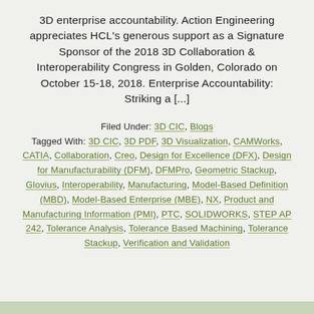3D enterprise accountability. Action Engineering appreciates HCL's generous support as a Signature Sponsor of the 2018 3D Collaboration & Interoperability Congress in Golden, Colorado on October 15-18, 2018. Enterprise Accountability: Striking a [...]
Filed Under: 3D CIC, Blogs
Tagged With: 3D CIC, 3D PDF, 3D Visualization, CAMWorks, CATIA, Collaboration, Creo, Design for Excellence (DFX), Design for Manufacturability (DFM), DFMPro, Geometric Stackup, Glovius, Interoperability, Manufacturing, Model-Based Definition (MBD), Model-Based Enterprise (MBE), NX, Product and Manufacturing Information (PMI), PTC, SOLIDWORKS, STEP AP 242, Tolerance Analysis, Tolerance Based Machining, Tolerance Stackup, Verification and Validation